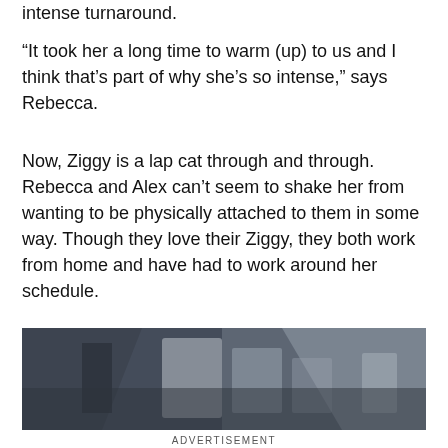intense turnaround.
“It took her a long time to warm (up) to us and I think that’s part of why she’s so intense,” says Rebecca.
Now, Ziggy is a lap cat through and through. Rebecca and Alex can’t seem to shake her from wanting to be physically attached to them in some way. Though they love their Ziggy, they both work from home and have had to work around her schedule.
[Figure (photo): A dark, partially visible photo of what appears to be a cat or interior scene with dark and light areas.]
ADVERTISEMENT